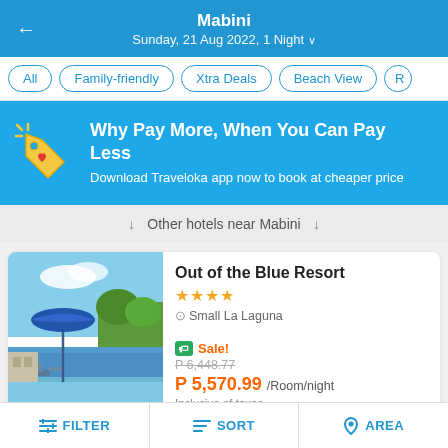Mabini
Sunday, 21 Aug 2022, 1 Night
All
Family-friendly
Xtra Deals
Beach View
[Figure (infographic): Traveloka promotional banner with tag/price-tag icon]
Why Pay More, When You Can Pay Less
Download Traveloka app now to book at cheaper price
Other hotels near Mabini
[Figure (photo): Photo of Out of the Blue Resort showing beach chairs, blue umbrella, pool and tropical scenery]
Out of the Blue Resort
★★★★
Small La Laguna
Sale!
P 6,448.77
P 5,570.99 /Room/night
Inclusive of taxes
FILTER   SORT   AREA